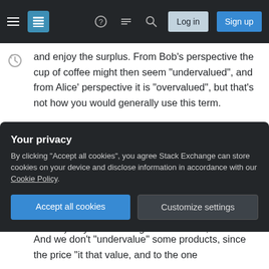Stack Exchange navigation bar with hamburger menu, logo, help, chat, search icons, Log in and Sign up buttons
and enjoy the surplus. From Bob's perspective the cup of coffee might then seem "undervalued", and from Alice' perspective it is "overvalued", but that's not how you would generally use this term.
And forget about the price reflecting a consumer's "actual utility". Utility is an ordinal concept. Under some technical assumptions you can turn it into a cardinal concept by "measuring" utility by WTP. But then, as above, the price "reflects" this utility (price = WTP) only for the marginal consumer, i.e. the one
Your privacy
By clicking "Accept all cookies", you agree Stack Exchange can store cookies on your device and disclose information in accordance with our Cookie Policy.
Accept all cookies   Customize settings
And we don't "undervalue" some products, since the price "with that value, and to the ...